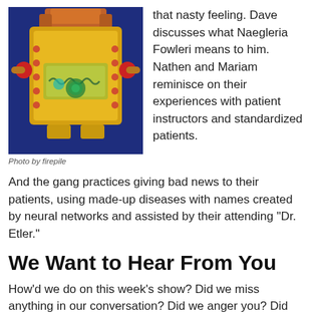[Figure (photo): A colorful toy robot with a gold/yellow body, red accents, and a screen-like panel on its chest with green and teal circular display elements. Blue background.]
Photo by firepile
that nasty feeling. Dave discusses what Naegleria Fowleri means to him. Nathen and Mariam reminisce on their experiences with patient instructors and standardized patients.
And the gang practices giving bad news to their patients, using made-up diseases with names created by neural networks and assisted by their attending “Dr. Etler.”
We Want to Hear From You
How’d we do on this week’s show? Did we miss anything in our conversation? Did we anger you? Did we make you smile? Call us at 347-SHORTCT anytime
or email theshortcoats@gmail.com. It’s always a pleasure to